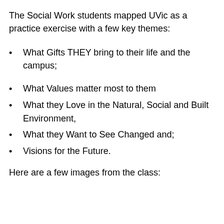The Social Work students mapped UVic as a practice exercise with a few key themes:
What Gifts THEY bring to their life and the campus;
What Values matter most to them
What they Love in the Natural, Social and Built Environment,
What they Want to See Changed and;
Visions for the Future.
Here are a few images from the class: